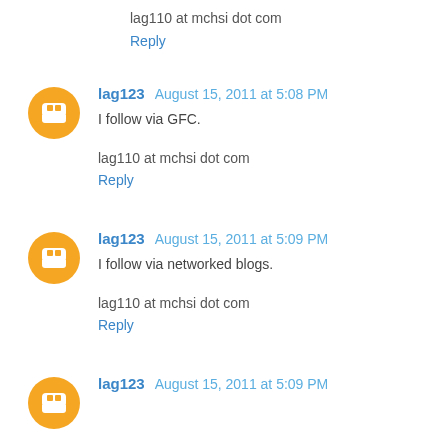lag110 at mchsi dot com
Reply
lag123   August 15, 2011 at 5:08 PM
I follow via GFC.
lag110 at mchsi dot com
Reply
lag123   August 15, 2011 at 5:09 PM
I follow via networked blogs.
lag110 at mchsi dot com
Reply
lag123   August 15, 2011 at 5:09 PM